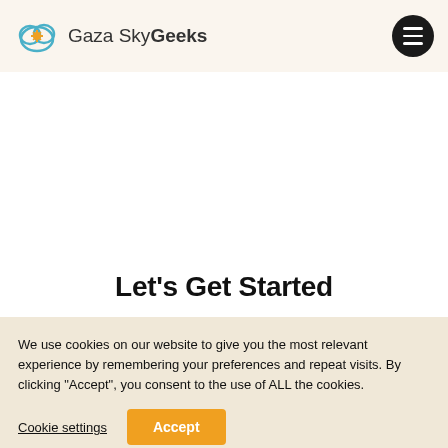Gaza Sky Geeks
Let's Get Started
We use cookies on our website to give you the most relevant experience by remembering your preferences and repeat visits. By clicking "Accept", you consent to the use of ALL the cookies.
Cookie settings
Accept